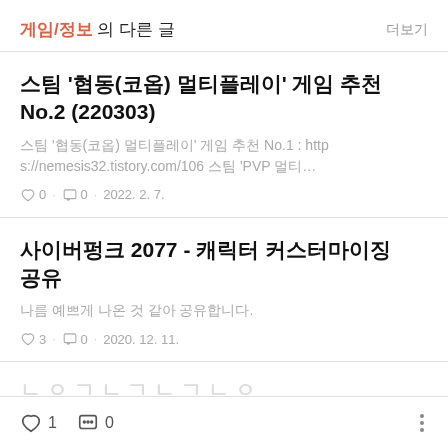게임/정보 의 다른 글  더보기
스팀 '협동(코옵) 멀티플레이' 게임 추천 No.2 (220303)
스팀 '협동(코옵) 멀티플레이' 게임 추천 No.1 : https://nemesis32.tistory.com/106 스팀 'PVP 멀티…
♡ 0  · ⬜ 0  · 2022. 2. 7.
사이버펑크 2077 - 캐릭터 커스터마이징 공유
나름 예쁘게 나온 것 같아 공유합니다.
♡ 3  · ⬜ 0  · 2020. 12. 11.
♡ 1  ⬜ 0  ⋮